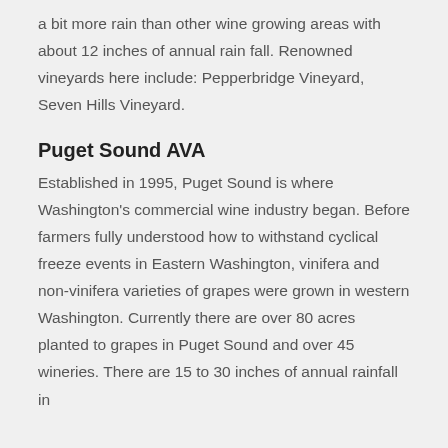a bit more rain than other wine growing areas with about 12 inches of annual rain fall. Renowned vineyards here include: Pepperbridge Vineyard, Seven Hills Vineyard.
Puget Sound AVA
Established in 1995, Puget Sound is where Washington's commercial wine industry began. Before farmers fully understood how to withstand cyclical freeze events in Eastern Washington, vinifera and non-vinifera varieties of grapes were grown in western Washington. Currently there are over 80 acres planted to grapes in Puget Sound and over 45 wineries. There are 15 to 30 inches of annual rainfall in...